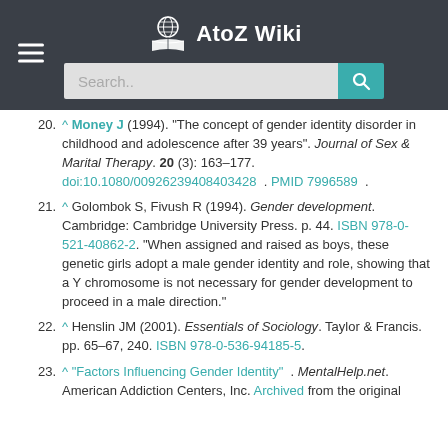AtoZ Wiki
20. ^ Money J (1994). "The concept of gender identity disorder in childhood and adolescence after 39 years". Journal of Sex & Marital Therapy. 20 (3): 163–177. doi:10.1080/00926239408403428 . PMID 7996589 .
21. ^ Golombok S, Fivush R (1994). Gender development. Cambridge: Cambridge University Press. p. 44. ISBN 978-0-521-40862-2. "When assigned and raised as boys, these genetic girls adopt a male gender identity and role, showing that a Y chromosome is not necessary for gender development to proceed in a male direction."
22. ^ Henslin JM (2001). Essentials of Sociology. Taylor & Francis. pp. 65–67, 240. ISBN 978-0-536-94185-5.
23. ^ "Factors Influencing Gender Identity" . MentalHelp.net. American Addiction Centers, Inc. Archived from the original